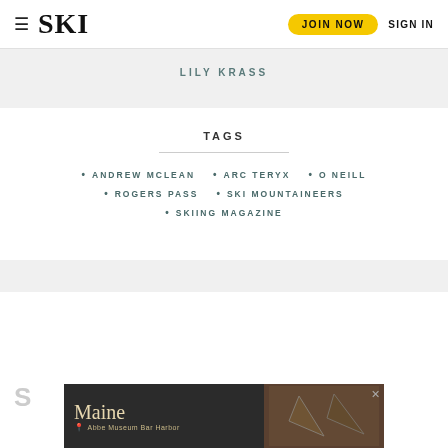SKI | JOIN NOW | SIGN IN
LILY KRASS
TAGS
ANDREW MCLEAN
ARC TERYX
O NEILL
ROGERS PASS
SKI MOUNTAINEERS
SKIING MAGAZINE
[Figure (photo): Advertisement banner: Maine, Abbe Museum Bar Harbor, with arrowhead artifacts on dark background]